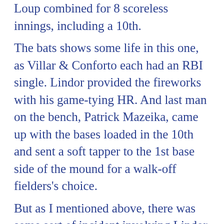Loup combined for 8 scoreless innings, including a 10th.
The bats shows some life in this one, as Villar & Conforto each had an RBI single. Lindor provided the fireworks with his game-tying HR. And last man on the bench, Patrick Mazeika, came up with the bases loaded in the 10th and sent a soft tapper to the 1st base side of the mound for a walk-off fielders's choice.
But as I mentioned above, there was some sort of incident involving Lindor & McNeil. Most of the dugout sprinted over to the tunnel, but whatever happened it was quickly resolved.
The story got bigger than it needed to be when Francisco said he and Jeff were arguing over